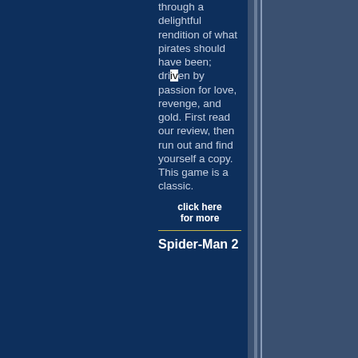through a delightful rendition of what pirates should have been; driven by passion for love, revenge, and gold. First read our review, then run out and find yourself a copy. This game is a classic.
click here for more
Spider-Man 2